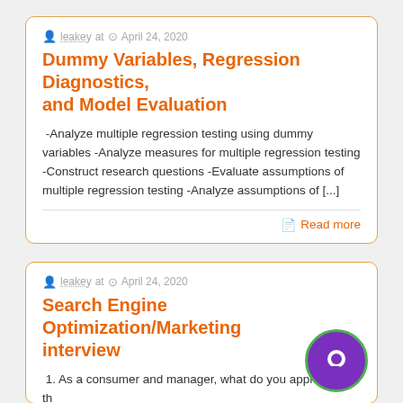leakey at  April 24, 2020
Dummy Variables, Regression Diagnostics, and Model Evaluation
-Analyze multiple regression testing using dummy variables -Analyze measures for multiple regression testing -Construct research questions -Evaluate assumptions of multiple regression testing -Analyze assumptions of [...]
Read more
leakey at  April 24, 2020
Search Engine Optimization/Marketing interview
1. As a consumer and manager, what do you appreciate the most in the design of a website? Functionality? Visual appeal? Design and